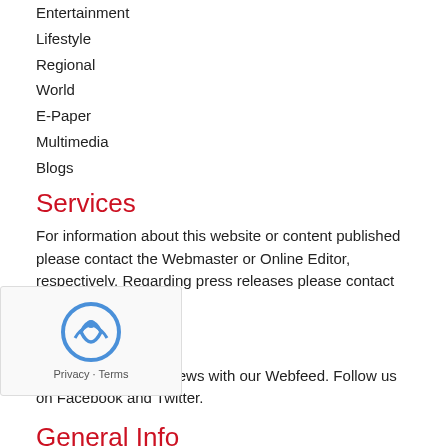Entertainment
Lifestyle
Regional
World
E-Paper
Multimedia
Blogs
Services
For information about this website or content published please contact the Webmaster or Online Editor, respectively. Regarding press releases please contact the News Room.
Subscribe
Subscribe to NationNews with our Webfeed. Follow us on Facebook and Twitter.
General Info
Terms of Use
Commenting Policy
s
olicy